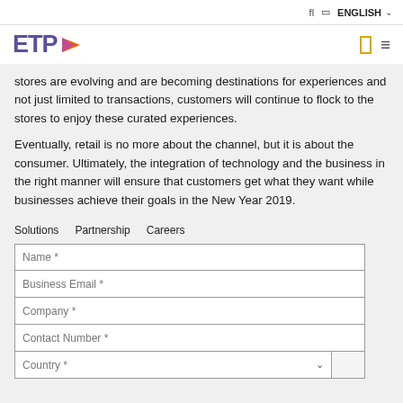fl  ENGLISH
[Figure (logo): ETP logo with purple text and orange arrow]
stores are evolving and are becoming destinations for experiences and not just limited to transactions, customers will continue to flock to the stores to enjoy these curated experiences.
Eventually, retail is no more about the channel, but it is about the consumer. Ultimately, the integration of technology and the business in the right manner will ensure that customers get what they want while businesses achieve their goals in the New Year 2019.
Solutions
Partnership
Careers
Name *
Business Email *
Company *
Contact Number *
Country *